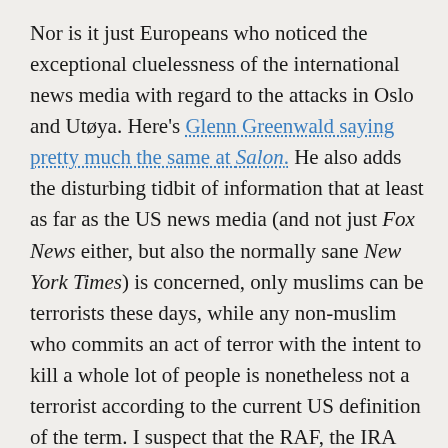Nor is it just Europeans who noticed the exceptional cluelessness of the international news media with regard to the attacks in Oslo and Utøya. Here's Glenn Greenwald saying pretty much the same at Salon. He also adds the disturbing tidbit of information that at least as far as the US news media (and not just Fox News either, but also the normally sane New York Times) is concerned, only muslims can be terrorists these days, while any non-muslim who commits an act of terror with the intent to kill a whole lot of people is nonetheless not a terrorist according to the current US definition of the term. I suspect that the RAF, the IRA and its protestant counterparts, the Oklahoma City bombers, the Unabomber and the Christian fundamentalists who blow up abortion clinics in the US will be very relieved to hear that they are no